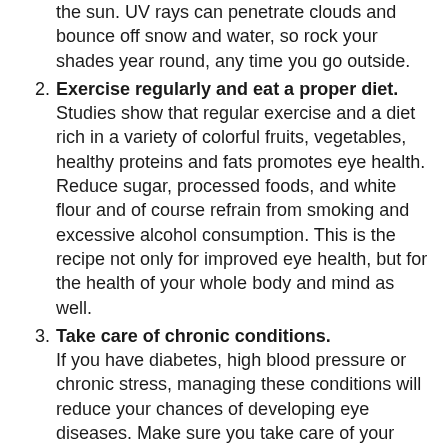(continuation) the sun. UV rays can penetrate clouds and bounce off snow and water, so rock your shades year round, any time you go outside.
2. Exercise regularly and eat a proper diet. Studies show that regular exercise and a diet rich in a variety of colorful fruits, vegetables, healthy proteins and fats promotes eye health. Reduce sugar, processed foods, and white flour and of course refrain from smoking and excessive alcohol consumption. This is the recipe not only for improved eye health, but for the health of your whole body and mind as well.
3. Take care of chronic conditions. If you have diabetes, high blood pressure or chronic stress, managing these conditions will reduce your chances of developing eye diseases. Make sure you take care of your overall health, as it is all related to the health of your eyes.
4. Throw away expired makeup and skincare products, and replace brushes periodically. Many women habitually use makeup and skincare products beyond their expiration dates. This can be